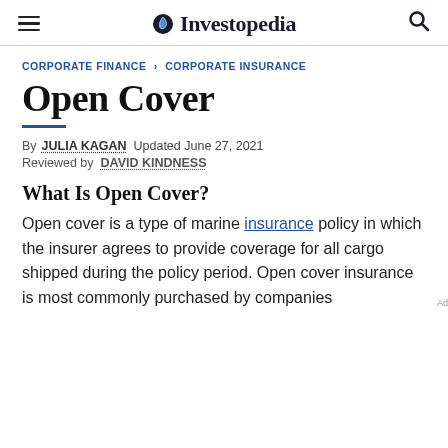Investopedia
CORPORATE FINANCE › CORPORATE INSURANCE
Open Cover
By JULIA KAGAN Updated June 27, 2021
Reviewed by DAVID KINDNESS
What Is Open Cover?
Open cover is a type of marine insurance policy in which the insurer agrees to provide coverage for all cargo shipped during the policy period. Open cover insurance is most commonly purchased by companies